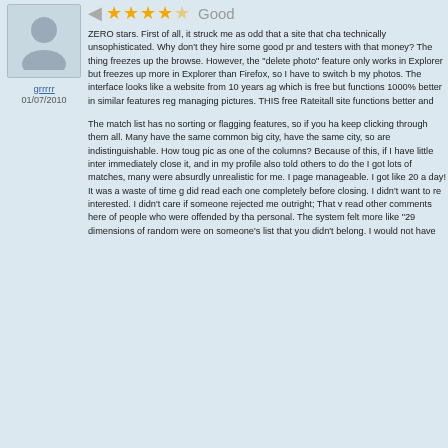[Figure (illustration): Gray silhouette avatar of a person in a light blue/gray box]
grrrrr
01/07/2010
[Figure (other): 4.5 star rating with left arrow and 'Good' label]
ZERO stars. First of all, it struck me as odd that a site that cha technically unsophisticated. Why don't they hire some good pr and testers with that money? The thing freezes up the browse. However, the "delete photo" feature only works in Explorer but freezes up more in Explorer than Firefox, so I have to switch b my photos. The interface looks like a website from 10 years ag which is free but functions 1000% better in similar features reg managing pictures. THIS free Rateitall site functions better and
The match list has no sorting or flagging features, so if you ha keep clicking through them all. Many have the same common big city, have the same city, so are indistinguishable. How toug pic as one of the columns? Because of this, if I have little inter immediately close it, and in my profile also told others to do the I got lots of matches, many were absurdly unrealistic for me. I page manageable. I got like 20 a day! It was a waste of time g did read each one completely before closing. I didn't want to re interested. I didn't care if someone rejected me outright; That v read other comments here of people who were offended by tha personal. The system felt more like "29 dimensions of random were on someone's list that you didn't belong. I would not have